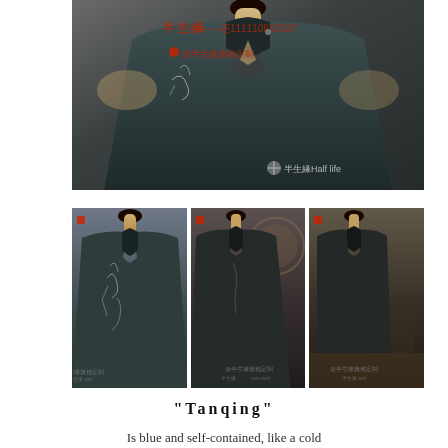[Figure (photo): Close-up of a dark navy/teal qipao (cheongsam) on a mannequin, showing the mandarin collar and upper bodice with subtle embroidery. Watermarks read: 半生缘, 半生缘旗袍定制, 半生緣Half life]
[Figure (photo): Three smaller photos showing the same dark navy qipao on a mannequin from different angles — front upper, front full body, and side/back view]
"Tanqing"
Is blue and self-contained, like a cold